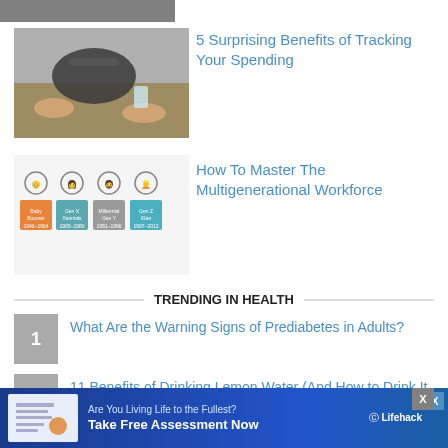[Figure (photo): Partial cropped photo at top of page]
[Figure (photo): People at a table, hands visible, financial meeting]
5 Surprising Benefits of Tracking Your Spending
[Figure (infographic): Multigenerational workforce infographic with illustrated figures for different generations]
How To Master The Multigenerational Workforce
TRENDING IN HEALTH
What Are the Warning Signs of Prediabetes in Adults?
11 Benefits of Drinking Lemon Water (And How to Drink It for Health)
How to Start Eating Healthy No Matter How Old You Are
How to Sleep for Improved Health and
[Figure (screenshot): Advertisement banner: Are You Living Life to the Fullest? Take Free Assessment Now - Lifehack]